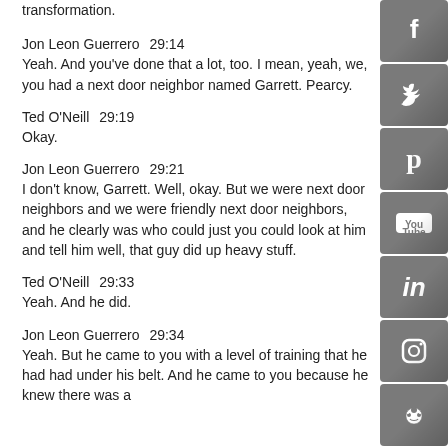transformation.
Jon Leon Guerrero  29:14
Yeah. And you've done that a lot, too. I mean, yeah, we, you had a next door neighbor named Garrett. Pearcy.
Ted O'Neill  29:19
Okay.
Jon Leon Guerrero  29:21
I don't know, Garrett. Well, okay. But we were next door neighbors and we were friendly next door neighbors, and he clearly was who could just you could look at him and tell him well, that guy did up heavy stuff.
Ted O'Neill  29:33
Yeah. And he did.
Jon Leon Guerrero  29:34
Yeah. But he came to you with a level of training that he had had under his belt. And he came to you because he knew there was a